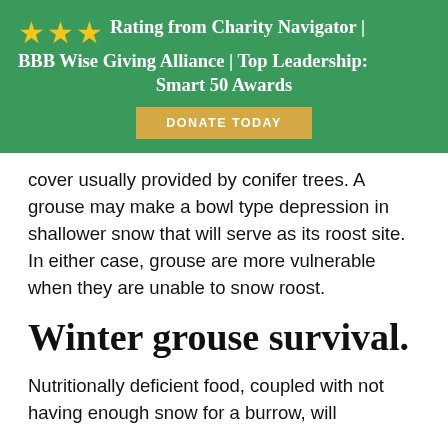[Figure (infographic): Green banner with three gold stars and text: Rating from Charity Navigator | BBB Wise Giving Alliance | Top Leadership: Smart 50 Awards, with a gold Donate Today button]
cover usually provided by conifer trees. A grouse may make a bowl type depression in shallower snow that will serve as its roost site. In either case, grouse are more vulnerable when they are unable to snow roost.
Winter grouse survival.
Nutritionally deficient food, coupled with not having enough snow for a burrow, will